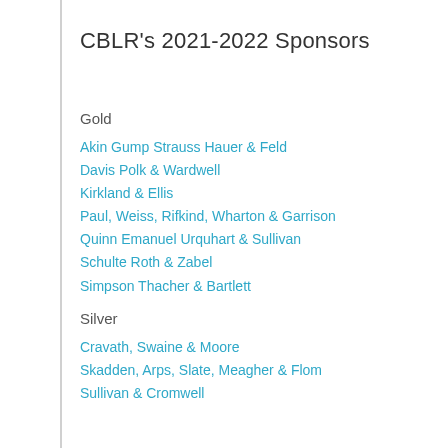CBLR's 2021-2022 Sponsors
Gold
Akin Gump Strauss Hauer & Feld
Davis Polk & Wardwell
Kirkland & Ellis
Paul, Weiss, Rifkind, Wharton & Garrison
Quinn Emanuel Urquhart & Sullivan
Schulte Roth & Zabel
Simpson Thacher & Bartlett
Silver
Cravath, Swaine & Moore
Skadden, Arps, Slate, Meagher & Flom
Sullivan & Cromwell